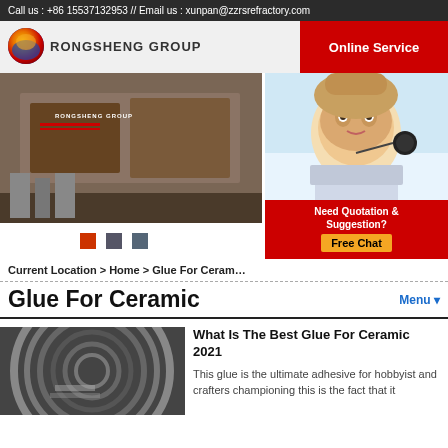Call us : +86 15537132953 // Email us : xunpan@zzrsrefractory.com
[Figure (logo): Rongsheng Group logo with flame/globe icon and company name]
[Figure (photo): Rongsheng Group exhibition hall interior photo with red banner]
[Figure (photo): Online service agent photo - woman with headset smiling]
Need Quotation & Suggestion? Free Chat
Current Location > Home > Glue For Ceram…
Glue For Ceramic
[Figure (photo): Article thumbnail photo showing ceramic glue product - spiral coil material]
What Is The Best Glue For Ceramic 2021
This glue is the ultimate adhesive for hobbyist and crafters championing this is the fact that it